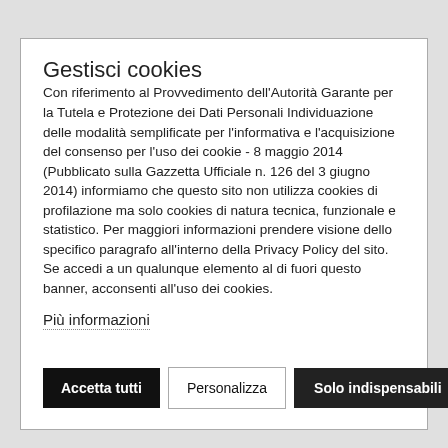Gestisci cookies
Con riferimento al Provvedimento dell'Autorità Garante per la Tutela e Protezione dei Dati Personali Individuazione delle modalità semplificate per l'informativa e l'acquisizione del consenso per l'uso dei cookie - 8 maggio 2014 (Pubblicato sulla Gazzetta Ufficiale n. 126 del 3 giugno 2014) informiamo che questo sito non utilizza cookies di profilazione ma solo cookies di natura tecnica, funzionale e statistico. Per maggiori informazioni prendere visione dello specifico paragrafo all'interno della Privacy Policy del sito. Se accedi a un qualunque elemento al di fuori questo banner, acconsenti all'uso dei cookies.
Più informazioni
Accetta tutti | Personalizza | Solo indispensabili